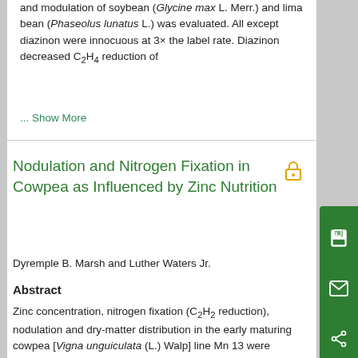and modulation of soybean (Glycine max L. Merr.) and lima bean (Phaseolus lunatus L.) was evaluated. All except diazinon were innocuous at 3× the label rate. Diazinon decreased C₂H₄ reduction of
... Show More
Nodulation and Nitrogen Fixation in Cowpea as Influenced by Zinc Nutrition
Dyremple B. Marsh and Luther Waters Jr.
Abstract
Zinc concentration, nitrogen fixation (C₂H₂ reduction), nodulation and dry-matter distribution in the early maturing cowpea [Vigna unguiculata (L.) Walp] line Mn 13 were examined at 5 levels